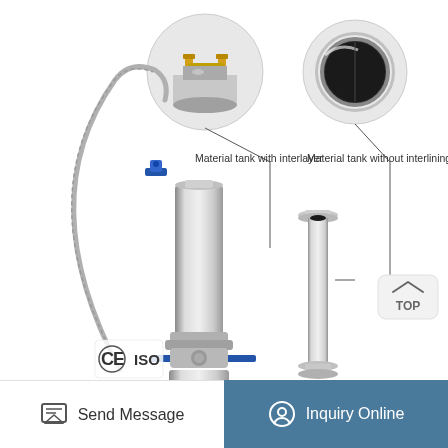[Figure (engineering-diagram): Product page showing stainless steel closed-loop extractor assembly with flexible hose, valves, collection vessel, and CE/ISO certification marks. Two circular inset photos show close-ups: one labeled 'Material tank with interlayer' showing top fittings, another labeled 'Material tank without interlining' showing hollow tube interior. A standalone tall cylindrical tube component is shown to the right. Callout lines connect labels to components. A 'TOP' navigation button is in lower right.]
Material tank with interlayer
Material tank without interlining
Send Message
Inquiry Online